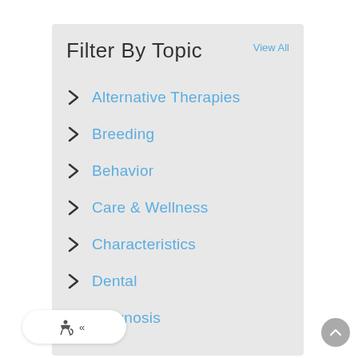Filter By Topic
View All
Alternative Therapies
Breeding
Behavior
Care & Wellness
Characteristics
Dental
Diagnosis